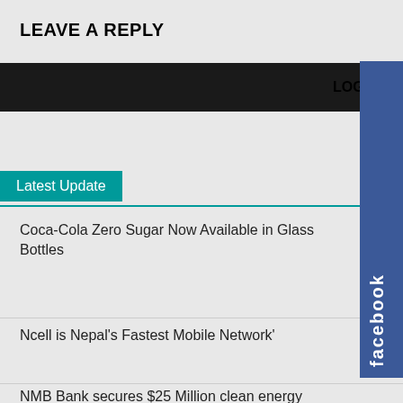LEAVE A REPLY
LOG IN TO LEAVE A COMMENT
[Figure (other): Facebook tab/widget on right side]
Latest Update
Coca-Cola Zero Sugar Now Available in Glass Bottles
Ncell is Nepal’s Fastest Mobile Network’
NMB Bank secures $25 Million clean energy